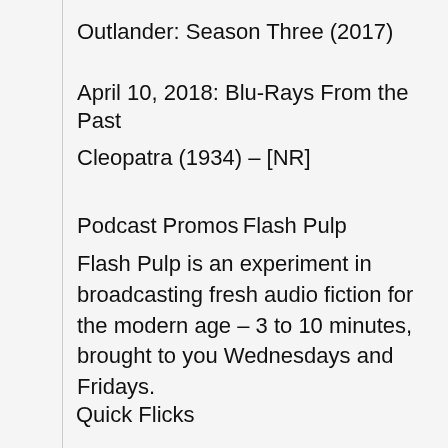Outlander: Season Three (2017)
April 10, 2018: Blu-Rays From the Past
Cleopatra (1934) – [NR]
Podcast Promos
Flash Pulp
Flash Pulp is an experiment in broadcasting fresh audio fiction for the modern age – 3 to 10 minutes, brought to you Wednesdays and Fridays.
Quick Flicks